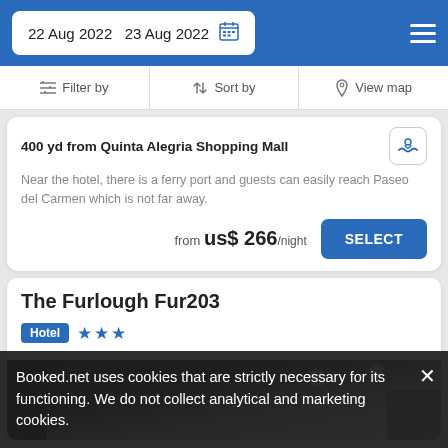22 Aug 2022  23 Aug 2022
Filter by  Sort by  View map
400 yd from Quinta Alegria Shopping Mall
Near the hotel, there is a ferry port and guests can easily reach Paseo del Carmen which is not far away.
from us$ 266/night
The Furlough Fur203
Hotel ★★★
[Figure (photo): Interior photo of hotel room with dark furniture and white ceiling with recessed lights]
Booked.net uses cookies that are strictly necessary for its functioning. We do not collect analytical and marketing cookies.